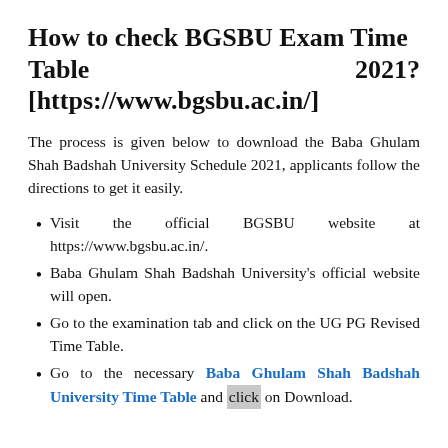How to check BGSBU Exam Time Table 2021? [https://www.bgsbu.ac.in/]
The process is given below to download the Baba Ghulam Shah Badshah University Schedule 2021, applicants follow the directions to get it easily.
Visit the official BGSBU website at https://www.bgsbu.ac.in/.
Baba Ghulam Shah Badshah University's official website will open.
Go to the examination tab and click on the UG PG Revised Time Table.
Go to the necessary Baba Ghulam Shah Badshah University Time Table and click on Download.